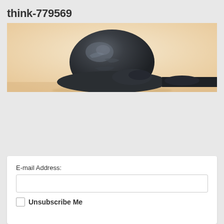think-779569
[Figure (photo): A bronze or dark metal sculpture of a bowed/rounded head resting on a surface, photographed against a warm beige/cream background. Only the top portion of the figure is visible, cropped at the bottom.]
E-mail Address:
Unsubscribe Me